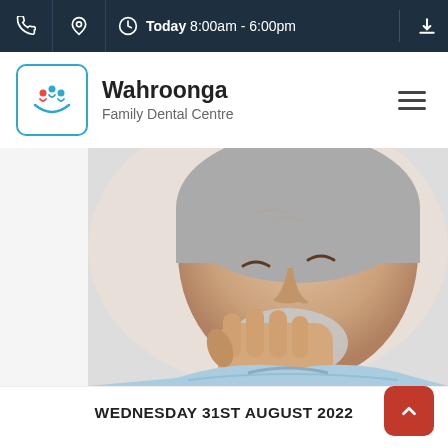Today 8:00am - 6:00pm
Wahroonga Family Dental Centre
[Figure (photo): An older man with grey hair and beard holding his jaw/cheek in pain, eyes closed, suggesting toothache or dental pain.]
WEDNESDAY 31ST AUGUST 2022